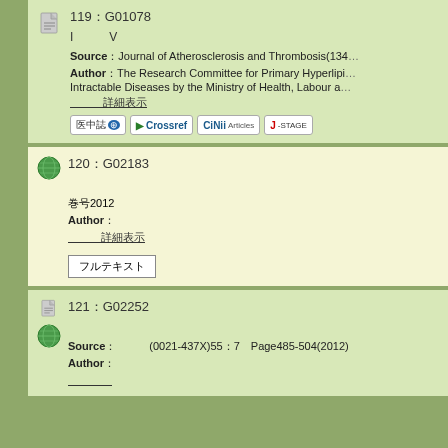119：G01078
I　　　V　　　　　　　　　　　
Source：Journal of Atherosclerosis and Thrombosis(134...
Author：The Research Committee for Primary Hyperlipid... Intractable Diseases by the Ministry of Health, Labour a...
　　　詳細表示
120：G02183
　　　　　　　　　　　　　　　
巻号2012
Author：　　　　　　　　　　　　　　　　　　　　　　　　　　　　　　　　　　　　　　　　　　　　　　　　
　　　詳細表示
フルテキスト
121：G02252
　　　　　　　　　　　　　　　　　
Source：　　　(0021-437X)55：7　Page485-504(2012)
Author：